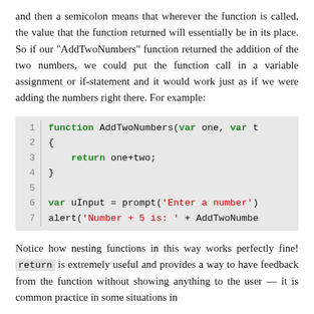and then a semicolon means that wherever the function is called, the value that the function returned will essentially be in its place. So if our "AddTwoNumbers" function returned the addition of the two numbers, we could put the function call in a variable assignment or if-statement and it would work just as if we were adding the numbers right there. For example:
[Figure (screenshot): Code block showing a JavaScript function AddTwoNumbers with return statement, and usage with prompt and alert. Line numbers 1-7 with a vertical separator.]
Notice how nesting functions in this way works perfectly fine! return is extremely useful and provides a way to have feedback from the function without showing anything to the user — it is common practice in some situations in